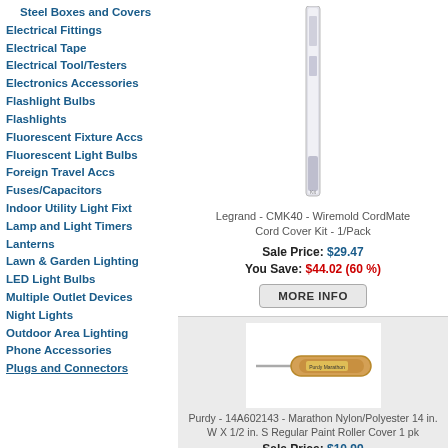Steel Boxes and Covers
Electrical Fittings
Electrical Tape
Electrical Tool/Testers
Electronics Accessories
Flashlight Bulbs
Flashlights
Fluorescent Fixture Accs
Fluorescent Light Bulbs
Foreign Travel Accs
Fuses/Capacitors
Indoor Utility Light Fixt
Lamp and Light Timers
Lanterns
Lawn & Garden Lighting
LED Light Bulbs
Multiple Outlet Devices
Night Lights
Outdoor Area Lighting
Phone Accessories
Plugs and Connectors
[Figure (photo): Legrand CMK40 Wiremold CordMate Cord Cover Kit product image]
Legrand - CMK40 - Wiremold CordMate Cord Cover Kit - 1/Pack
Sale Price: $29.47
You Save: $44.02 (60 %)
[Figure (photo): Purdy 14A602143 Marathon Nylon/Polyester paint roller cover product image]
Purdy - 14A602143 - Marathon Nylon/Polyester 14 in. W X 1/2 in. S Regular Paint Roller Cover 1 pk
Sale Price: $10.99